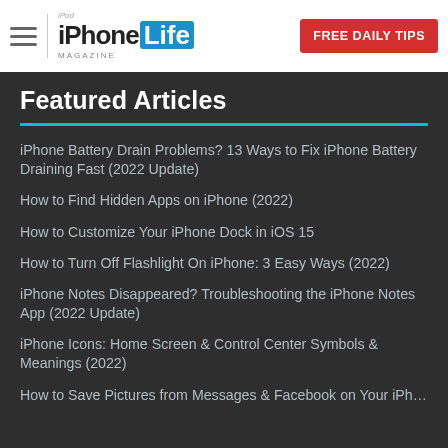iPhone Life Magazine — FREE DAILY TIPS
Featured Articles
iPhone Battery Drain Problems? 13 Ways to Fix iPhone Battery Draining Fast (2022 Update)
How to Find Hidden Apps on iPhone (2022)
How to Customize Your iPhone Dock in iOS 15
How to Turn Off Flashlight On iPhone: 3 Easy Ways (2022)
iPhone Notes Disappeared? Troubleshooting the iPhone Notes App (2022 Update)
iPhone Icons: Home Screen & Control Center Symbols & Meanings (2022)
How to Save Pictures from Messages & Facebook on Your iPh…